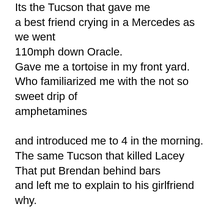Its the Tucson that gave me a best friend crying in a Mercedes as we went 110mph down Oracle. Gave me a tortoise in my front yard. Who familiarized me with the not so sweet drip of amphetamines and introduced me to 4 in the morning. The same Tucson that killed Lacey That put Brendan behind bars and left me to explain to his girlfriend why. Its the Tucson that poured long islands down my throat in Mexico and in not so seedy bars downtown. The Tucson that made me afraid